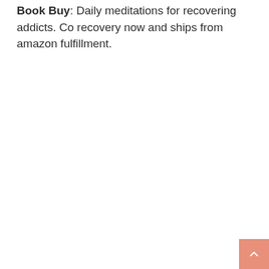Book Buy: Daily meditations for recovering addicts. Covers recovery now and ships from amazon fulfillment.